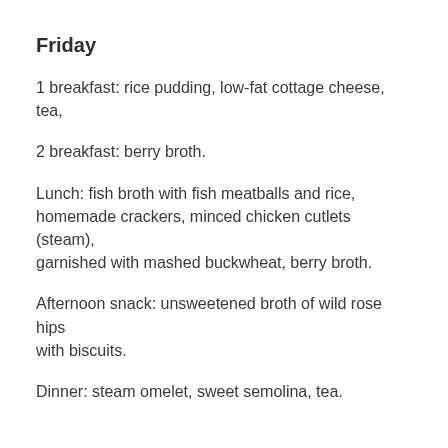Friday
1 breakfast: rice pudding, low-fat cottage cheese, tea,
2 breakfast: berry broth.
Lunch: fish broth with fish meatballs and rice, homemade crackers, minced chicken cutlets (steam), garnished with mashed buckwheat, berry broth.
Afternoon snack: unsweetened broth of wild rose hips with biscuits.
Dinner: steam omelet, sweet semolina, tea.